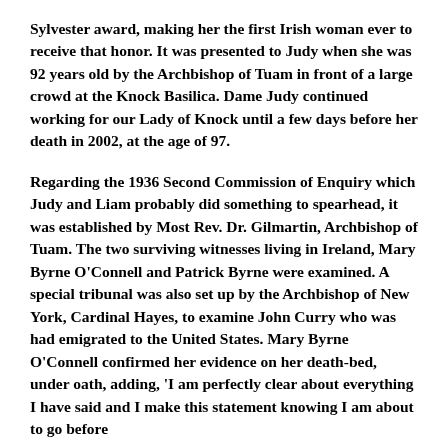Sylvester award, making her the first Irish woman ever to receive that honor. It was presented to Judy when she was 92 years old by the Archbishop of Tuam in front of a large crowd at the Knock Basilica. Dame Judy continued working for our Lady of Knock until a few days before her death in 2002, at the age of 97.
Regarding the 1936 Second Commission of Enquiry which Judy and Liam probably did something to spearhead, it was established by Most Rev. Dr. Gilmartin, Archbishop of Tuam. The two surviving witnesses living in Ireland, Mary Byrne O'Connell and Patrick Byrne were examined. A special tribunal was also set up by the Archbishop of New York, Cardinal Hayes, to examine John Curry who was had emigrated to the United States. Mary Byrne O'Connell confirmed her evidence on her death-bed, under oath, adding, 'I am perfectly clear about everything I have said and I make this statement knowing I am about to go before...